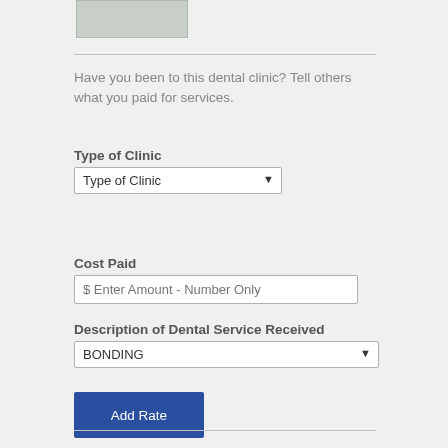[Figure (photo): Small image thumbnail at top of page]
Have you been to this dental clinic? Tell others what you paid for services.
Type of Clinic
Type of Clinic (dropdown select)
Cost Paid
$ Enter Amount - Number Only (text input)
Description of Dental Service Received
BONDING (dropdown select)
Add Rate (button)